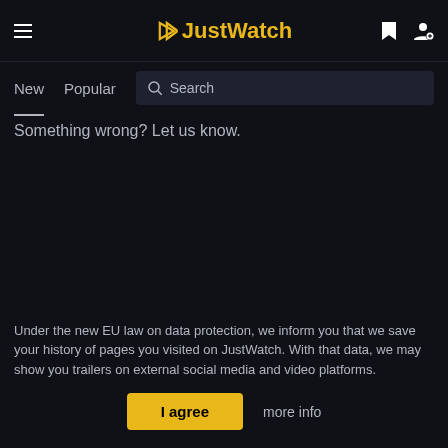JustWatch
New  Popular  Search
Something wrong? Let us know.
Under the new EU law on data protection, we inform you that we save your history of pages you visited on JustWatch. With that data, we may show you trailers on external social media and video platforms.
I agree  more info